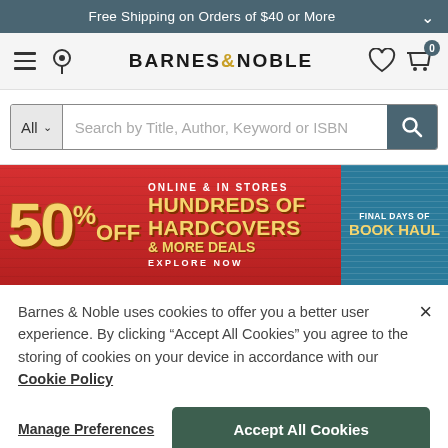Free Shipping on Orders of $40 or More
[Figure (logo): Barnes & Noble logo with hamburger menu, location pin, heart icon, and cart icon with 0 badge]
[Figure (screenshot): Search bar with All dropdown and Search by Title, Author, Keyword or ISBN placeholder]
[Figure (infographic): Red promotional banner: 50% OFF HUNDREDS OF HARDCOVERS & MORE DEALS - ONLINE & IN STORES - EXPLORE NOW - FINAL DAYS OF BOOK HAUL]
Barnes & Noble uses cookies to offer you a better user experience. By clicking "Accept All Cookies" you agree to the storing of cookies on your device in accordance with our Cookie Policy
Manage Preferences
Accept All Cookies